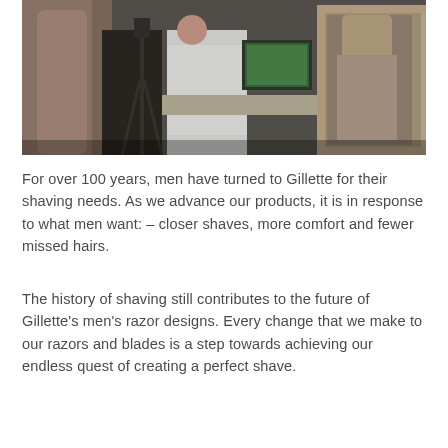[Figure (photo): A laboratory or research setting showing a person in a white lab coat working at a computer workstation. A shirtless man stands in the foreground with his back to the camera. A mirror or screen on the right reflects another person. Camera equipment on a tripod is visible in the middle.]
For over 100 years, men have turned to Gillette for their shaving needs. As we advance our products, it is in response to what men want: – closer shaves, more comfort and fewer missed hairs.
The history of shaving still contributes to the future of Gillette's men's razor designs. Every change that we make to our razors and blades is a step towards achieving our endless quest of creating a perfect shave.